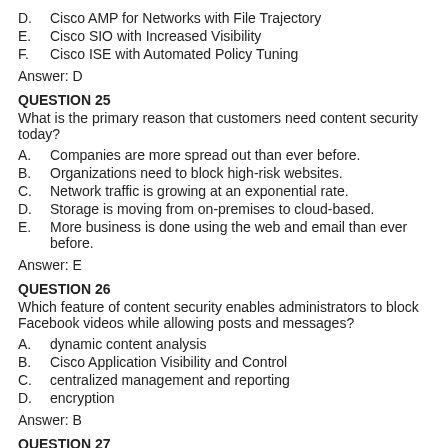D.  Cisco AMP for Networks with File Trajectory
E.  Cisco SIO with Increased Visibility
F.  Cisco ISE with Automated Policy Tuning
Answer: D
QUESTION 25
What is the primary reason that customers need content security today?
A.  Companies are more spread out than ever before.
B.  Organizations need to block high-risk websites.
C.  Network traffic is growing at an exponential rate.
D.  Storage is moving from on-premises to cloud-based.
E.  More business is done using the web and email than ever before.
Answer: E
QUESTION 26
Which feature of content security enables administrators to block Facebook videos while allowing posts and messages?
A.  dynamic content analysis
B.  Cisco Application Visibility and Control
C.  centralized management and reporting
D.  encryption
Answer: B
QUESTION 27